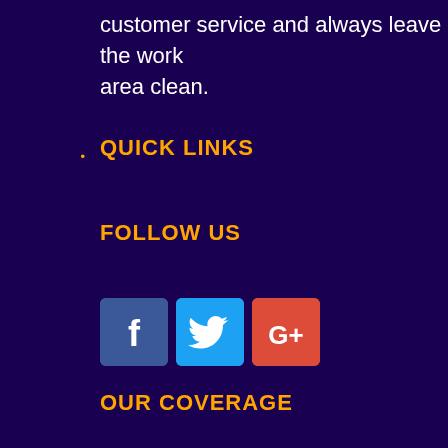customer service and always leave the work area clean.
QUICK LINKS
FOLLOW US
[Figure (other): Social media icons: Facebook (blue square with f), Twitter (light blue square with bird), Google+ (red square with G+)]
OUR COVERAGE